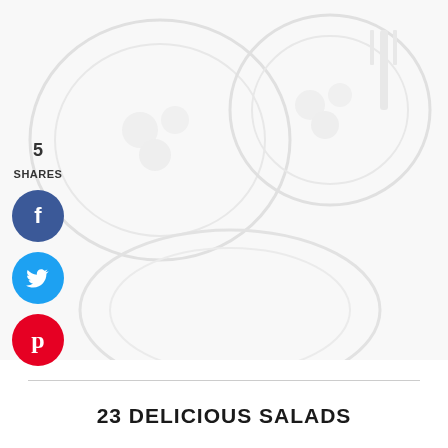[Figure (photo): Faded/washed-out food photo (salad bowls) used as background image in upper portion of page]
5
SHARES
[Figure (infographic): Facebook share button - blue circle with white 'f' icon]
[Figure (infographic): Twitter share button - light blue circle with white bird icon]
[Figure (infographic): Pinterest share button - red circle with white 'p' icon]
23 DELICIOUS SALADS